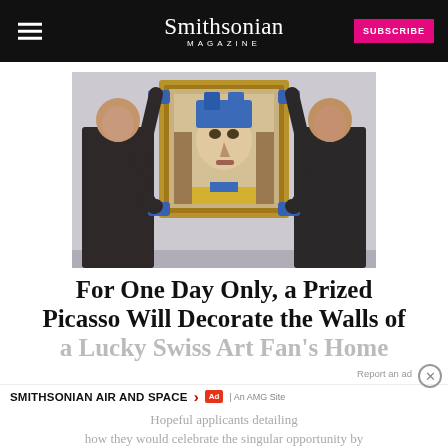Smithsonian Magazine | SUBSCRIBE
[Figure (photo): Two men in dark suits wearing blue gloves hold a framed Picasso portrait painting against a white wall]
For One Day Only, a Prized Picasso Will Decorate the Walls of a Lucky Swiss Art Fan's Home
Hopeful applicants detailing how they would celebrate the singular opportunity by April 1